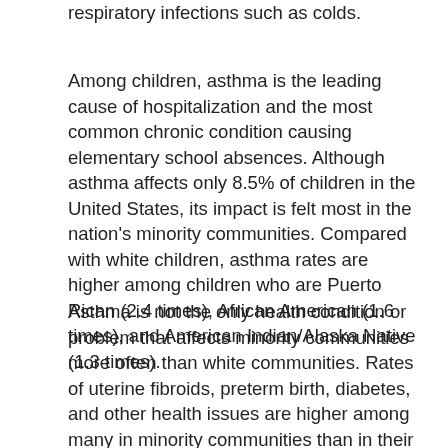respiratory infections such as colds.
Among children, asthma is the leading cause of hospitalization and the most common chronic condition causing elementary school absences. Although asthma affects only 8.5% of children in the United States, its impact is felt most in the nation's minority communities. Compared with white children, asthma rates are higher among children who are Puerto Rican (2.4 times), African American (1.6 times), and American Indian/Alaska Native (1.3 times).
Asthma is not the only health condition or problem that affects minority communities more often than white communities. Rates of uterine fibroids, preterm birth, diabetes, and other health issues are higher among many in minority communities than in their white counterparts. National Minority Health Month, every April, refocuses attention on